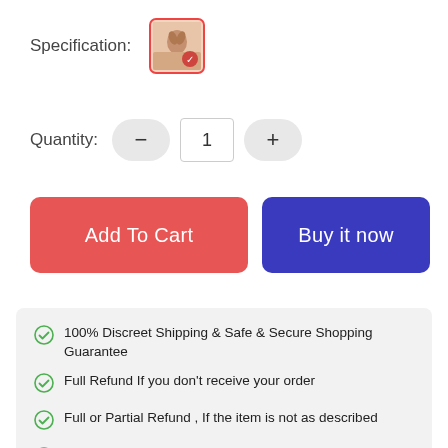Specification:
[Figure (photo): Small thumbnail image of a product with a red checkmark overlay, bordered in red]
Quantity:
Add To Cart
Buy it now
100% Discreet Shipping & Safe & Secure Shopping Guarantee
Full Refund If you don't receive your order
Full or Partial Refund , If the item is not as described
We offer hassle free returns on all defective products sent out.